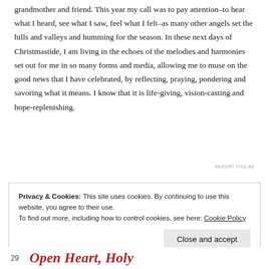grandmother and friend. This year my call was to pay attention–to hear what I heard, see what I saw, feel what I felt–as many other angels set the hills and valleys and humming for the season. In these next days of Christmastide, I am living in the echoes of the melodies and harmonies set out for me in so many forms and media, allowing me to muse on the good news that I have celebrated, by reflecting, praying, pondering and savoring what it means. I know that it is life-giving, vision-casting and hope-replenishing.
REPORT THIS AD
Privacy & Cookies: This site uses cookies. By continuing to use this website, you agree to their use.
To find out more, including how to control cookies, see here: Cookie Policy
Close and accept
29   Open Heart, Holy